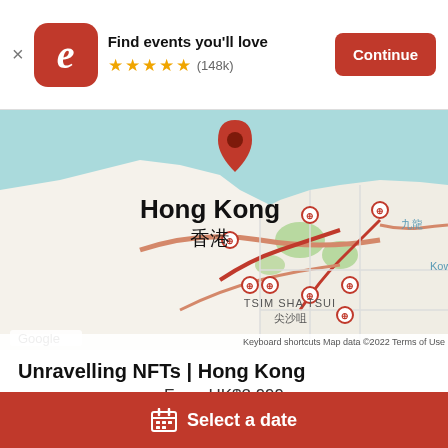Find events you'll love ★★★★★ (148k) Continue
[Figure (map): Google Maps view centered on Hong Kong / 香港 with a red location pin. Shows Kowloon Bay area, TSIM SHA TSUI / 尖沙咀 district, roads in red/orange, water in teal. Map data ©2022. Zoom controls (+/−) and street view pegman visible on right. Google logo bottom left.]
Unravelling NFTs | Hong Kong
From HK$2,999
Select a date